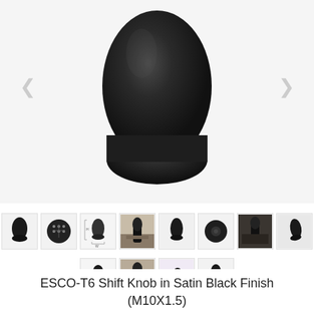[Figure (photo): Close-up product photo of an ESCO-T6 shift knob with satin black finish, showing a smooth matte black teardrop-shaped knob against a light gray background. Navigation arrows (< >) visible on left and right sides.]
[Figure (photo): Row of 8 product thumbnail images showing the shift knob from different angles: side view, top/face view with gear pattern, measurement diagram, installed in car, side view, bottom view, installed photo, and angled view.]
[Figure (photo): Second row of 4 product thumbnail images: knob on purple display stand, installed in car interior, knob with purple cloth/accessory, and standalone side view.]
ESCO-T6 Shift Knob in Satin Black Finish (M10X1.5)